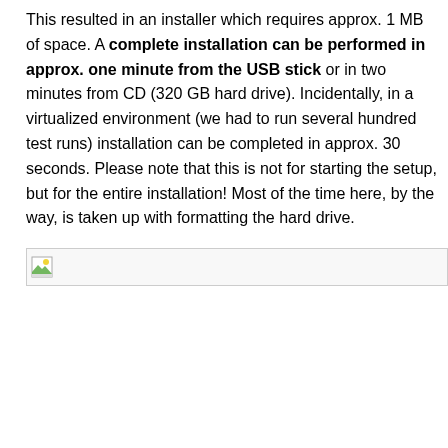This resulted in an installer which requires approx. 1 MB of space. A complete installation can be performed in approx. one minute from the USB stick or in two minutes from CD (320 GB hard drive). Incidentally, in a virtualized environment (we had to run several hundred test runs) installation can be completed in approx. 30 seconds. Please note that this is not for starting the setup, but for the entire installation! Most of the time here, by the way, is taken up with formatting the hard drive.
[Figure (photo): A broken/placeholder image icon at the left side of an image area with a light grey background, indicating an image that failed to load.]